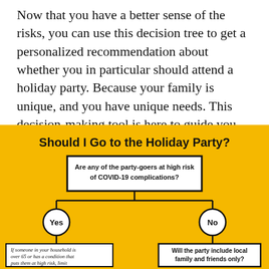Now that you have a better sense of the risks, you can use this decision tree to get a personalized recommendation about whether you in particular should attend a holiday party. Because your family is unique, and you have unique needs. This decision-making tool is here to guide you.
[Figure (flowchart): A decision tree flowchart on a yellow background titled 'Should I Go to the Holiday Party?' Starting with a question box 'Are any of the party-goers at high risk of COVID-19 complications?' branching to Yes (left circle) and No (right circle). Yes branch leads to italic text box about household risk. No branch leads to question box 'Will the party include local family and friends only?']